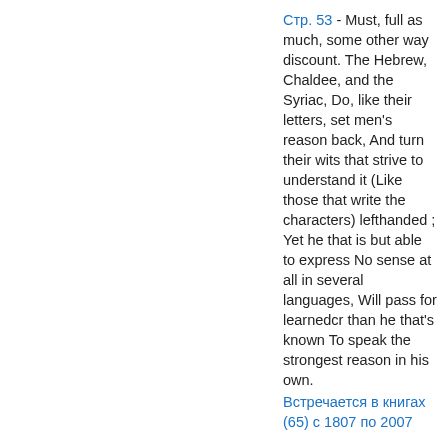Стр. 53 - Must, full as much, some other way discount. The Hebrew, Chaldee, and the Syriac, Do, like their letters, set men's reason back, And turn their wits that strive to understand it (Like those that write the characters) lefthanded ; Yet he that is but able to express No sense at all in several languages, Will pass for learnedcr than he that's known To speak the strongest reason in his own. Встречается в книгах (65) с 1807 по 2007
Стр. 279 - Highness is further pleased, in the name and on the behalf